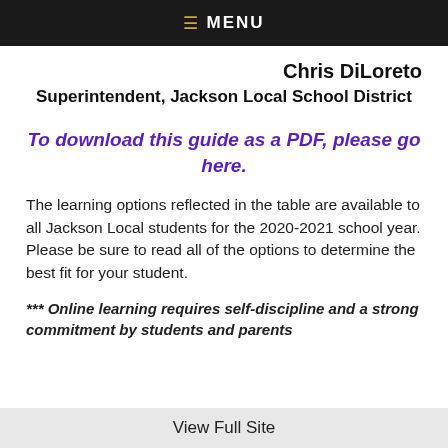≡ MENU
Chris DiLoreto
Superintendent, Jackson Local School District
To download this guide as a PDF, please go here.
The learning options reflected in the table are available to all Jackson Local students for the 2020-2021 school year. Please be sure to read all of the options to determine the best fit for your student.
*** Online learning requires self-discipline and a strong commitment by students and parents
View Full Site